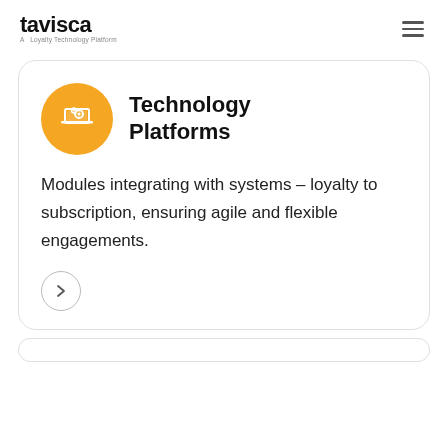tavisca — A Loyalty Technology Platform
[Figure (illustration): Orange circular icon with a laptop and gear symbols representing technology platforms]
Technology Platforms
Modules integrating with systems – loyalty to subscription, ensuring agile and flexible engagements.